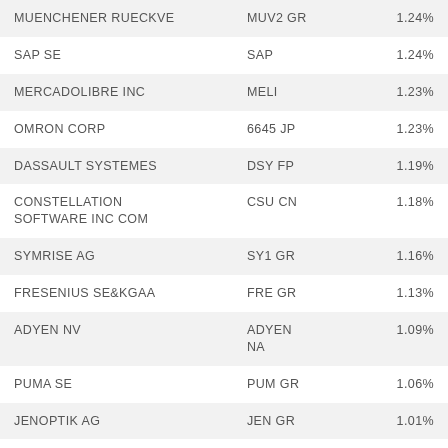| Name | Ticker | Weight |
| --- | --- | --- |
| MUENCHENER RUECKVE | MUV2 GR | 1.24% |
| SAP SE | SAP | 1.24% |
| MERCADOLIBRE INC | MELI | 1.23% |
| OMRON CORP | 6645 JP | 1.23% |
| DASSAULT SYSTEMES | DSY FP | 1.19% |
| CONSTELLATION SOFTWARE INC COM | CSU CN | 1.18% |
| SYMRISE AG | SY1 GR | 1.16% |
| FRESENIUS SE&KGAA | FRE GR | 1.13% |
| ADYEN NV | ADYEN NA | 1.09% |
| PUMA SE | PUM GR | 1.06% |
| JENOPTIK AG | JEN GR | 1.01% |
| SHELL PLC | SHELL NA | 0.94% |